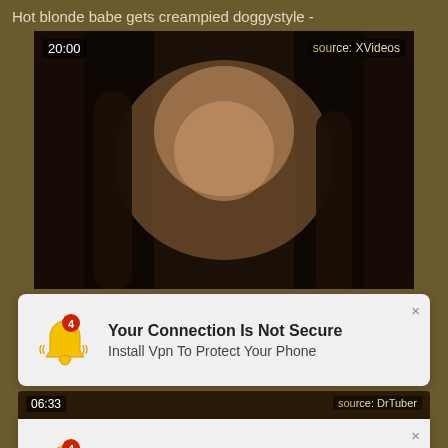Hot blonde babe gets creampied doggystyle -
[Figure (screenshot): Video thumbnail showing adult content, duration 20:00, source XVideos]
[Figure (screenshot): Notification popup: Your Connection Is Not Secure - Install Vpn To Protect Your Phone]
[Figure (screenshot): Second video thumbnail strip showing duration 06:33, source DrTuber]
[Figure (screenshot): Second notification popup: Your Connection Is Not Secure - Install Vpn To Protect Your Phone]